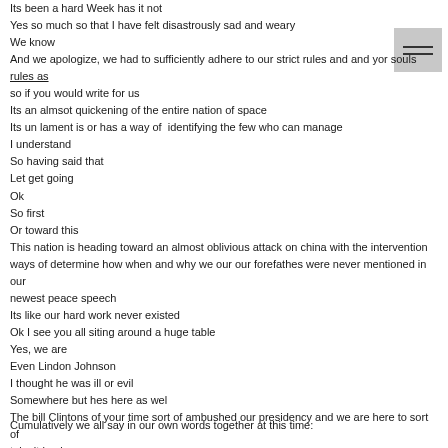Its been a hard Week has it not
Yes so much so that I have felt disastrously sad and weary
We know
And we apologize, we had to sufficiently adhere to our strict rules and and yor souls rules as so if you would write for us
Its an almsot quickening of the entire nation of space
Its un lament is or has a way of  identifying the few who can manage
I understand
So having said that
Let get going
Ok
So first
Or toward this
This nation is heading toward an almost oblivious attack on china with the intervention ways of determine how when and why we our our forefathes were never mentioned in our newest peace speech
Its like our hard work never existed
Ok I see you all siting around a huge table
Yes, we are
Even Lindon Johnson
I thought he was ill or evil
Somewhere but hes here as wel
The bill Clintons of your time sort of ambushed our presidency and we are here to sort of take it back
We give to you the assimilated words of our forefathers intertwined with our historical wisdom are you ready. Yes
Cumulatively we all say in our own words together at this time: